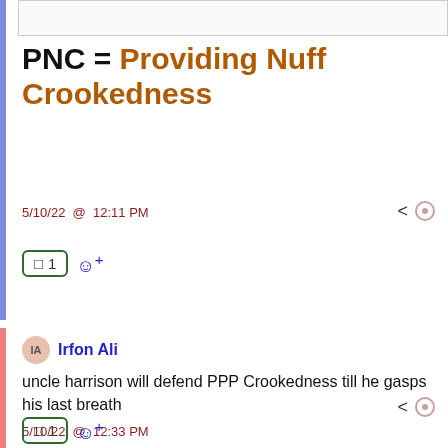PNC = Providing Nuff Crookedness
5/10/22 @ 12:11 PM
Irfon Ali
uncle harrison will defend PPP Crookedness till he gasps his last breath
5/10/22 @ 12:33 PM